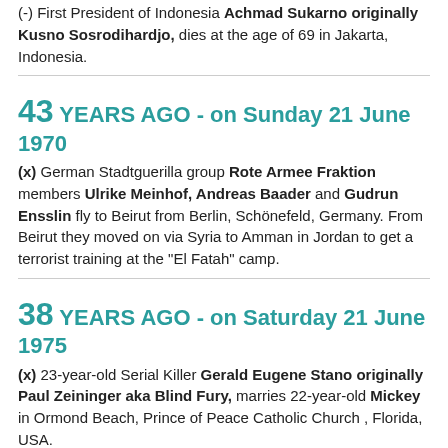(-) First President of Indonesia Achmad Sukarno originally Kusno Sosrodihardjo, dies at the age of 69 in Jakarta, Indonesia.
43 YEARS AGO - on Sunday 21 June 1970
(x) German Stadtguerilla group Rote Armee Fraktion members Ulrike Meinhof, Andreas Baader and Gudrun Ensslin fly to Beirut from Berlin, Schönefeld, Germany. From Beirut they moved on via Syria to Amman in Jordan to get a terrorist training at the "El Fatah" camp.
38 YEARS AGO - on Saturday 21 June 1975
(x) 23-year-old Serial Killer Gerald Eugene Stano originally Paul Zeininger aka Blind Fury, marries 22-year-old Mickey in Ormond Beach, Prince of Peace Catholic Church , Florida, USA.
34 YEARS AGO - on Thursday 21 June 1979
(-) Ex-Velvet Underground drummer Angus MacLise dies of starvation and tuberculosis at the age of 41 in Kathmandu, Shanta Bawan Hospital, Nepal.